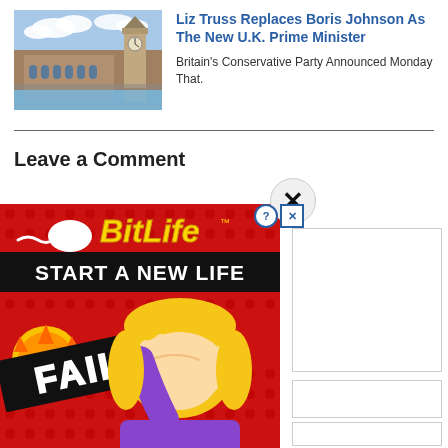[Figure (photo): Photo of the UK Houses of Parliament / Big Ben building]
Liz Truss Replaces Boris Johnson As The New U.K. Prime Minister
Britain's Conservative Party Announced Monday That.
Leave a Comment
[Figure (illustration): BitLife mobile game advertisement with red polka-dot background, sperm icon, BitLife yellow logo text, 'START A NEW LIFE' black banner, animated blonde character doing facepalm, FAIL sign, with close X button and ad info buttons]
[Figure (other): Empty white comment input text area box on right side]
[Figure (other): Empty white input field boxes for name/email on right side]